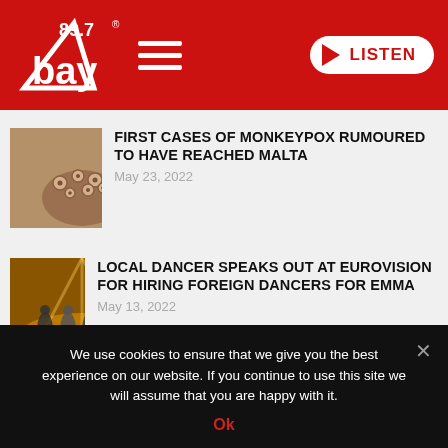[Figure (logo): 89.7 Bay radio station logo with hamburger menu and LISTEN button on red header]
[Figure (photo): Close-up of skin with monkeypox sores/lesions on a hand and arm]
FIRST CASES OF MONKEYPOX RUMOURED TO HAVE REACHED MALTA
May 23, 2022
[Figure (photo): Dancers performing on a golden lit Eurovision stage]
LOCAL DANCER SPEAKS OUT AT EUROVISION FOR HIRING FOREIGN DANCERS FOR EMMA
May 13, 2022
We use cookies to ensure that we give you the best experience on our website. If you continue to use this site we will assume that you are happy with it.
Ok